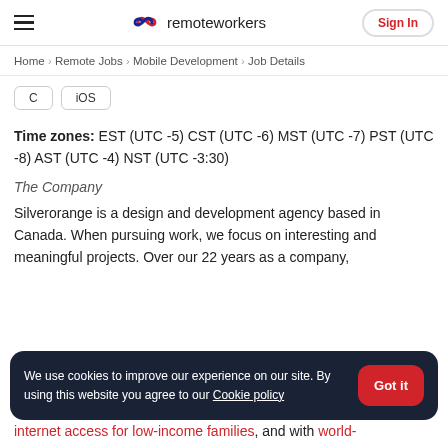remoteworkers | Sign In
Home > Remote Jobs > Mobile Development > Job Details
C   iOS
Time zones: EST (UTC -5) CST (UTC -6) MST (UTC -7) PST (UTC -8) AST (UTC -4) NST (UTC -3:30)
The Company
Silverorange is a design and development agency based in Canada. When pursuing work, we focus on interesting and meaningful projects. Over our 22 years as a company,
We use cookies to improve our experience on our site. By using this website you agree to our Cookie policy   Got it
internet access for low-income families, and with world-